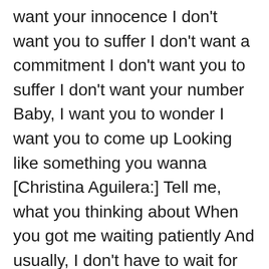want your innocence I don't want you to suffer I don't want a commitment I don't want you to suffer I don't want your number Baby, I want you to wonder I want you to come up Looking like something you wanna [Christina Aguilera:] Tell me, what you thinking about When you got me waiting patiently And usually, I don't have to wait for nobody But there's something about you That really got me feeling weak And I'm trying to find the words to speak Boy, I got my eyes on you Tell me what you wanna do I can picture you in my room Until the morning I don't even know your name Boy, I need to know your name I'm hoping that you feel the same Tell me if you want it I know you're gonna like it (I know) So tell me how you want it (Tell me)